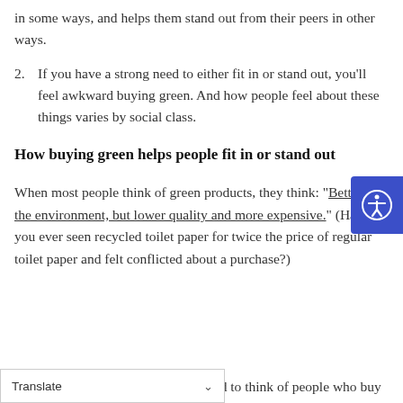in some ways, and helps them stand out from their peers in other ways.
2. If you have a strong need to either fit in or stand out, you'll feel awkward buying green. And how people feel about these things varies by social class.
How buying green helps people fit in or stand out
When most people think of green products, they think: “Better for the environment, but lower quality and more expensive.” (Have you ever seen recycled toilet paper for twice the price of regular toilet paper and felt conflicted about a purchase?)
end to think of people who buy